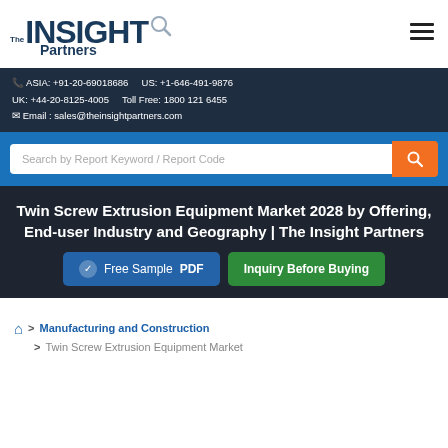[Figure (logo): The Insight Partners logo with magnifying glass icon]
ASIA: +91-20-69018686   US: +1-646-491-9876
UK: +44-20-8125-4005   Toll Free: 1800 121 6455
Email : sales@theinsightpartners.com
Search by Report Keyword / Report Code
Twin Screw Extrusion Equipment Market 2028 by Offering, End-user Industry and Geography | The Insight Partners
Free Sample PDF
Inquiry Before Buying
> Manufacturing and Construction > Twin Screw Extrusion Equipment Market